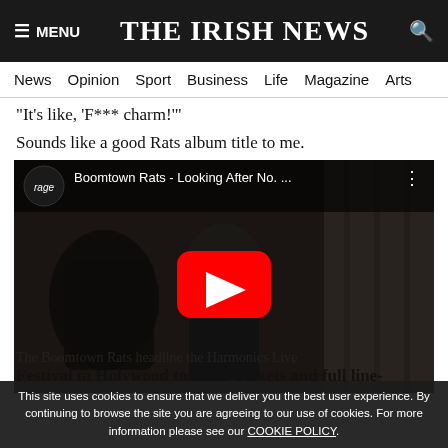≡ MENU  THE IRISH NEWS  🔍
News  Opinion  Sport  Business  Life  Magazine  Arts
"It's like, 'F*** charm!'"
Sounds like a good Rats album title to me.
[Figure (screenshot): YouTube video thumbnail showing Boomtown Rats - Looking After No... with rage TV logo, dark concert footage background, and red YouTube play button in center]
The Boomtown Rats headline the Harmonics Live Festival in Holywood tonight. Tickets and full line-
This site uses cookies to ensure that we deliver you the best user experience. By continuing to browse the site you are agreeing to our use of cookies. For more information please see our COOKIE POLICY.